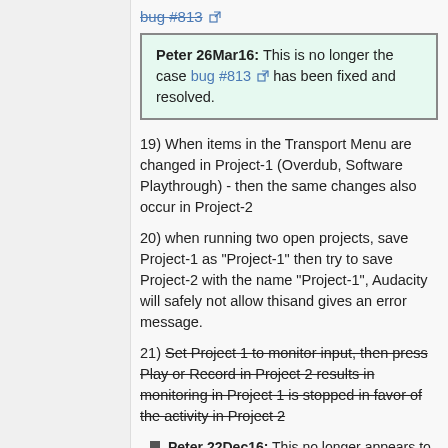bug #813 [ext link]
Peter 26Mar16: This is no longer the case bug #813 [ext link] has been fixed and resolved.
19) When items in the Transport Menu are changed in Project-1 (Overdub, Software Playthrough) - then the same changes also occur in Project-2
20) when running two open projects, save Project-1 as "Project-1" then try to save Project-2 with the name "Project-1", Audacity will safely not allow thisand gives an error message.
21) Set Project 1 to monitor input, then press Play or Record in Project 2 results in monitoring in Project 1 is stopped in favor of the activity in Project 2
Peter 22Dec16: This no longer appears to be the case in the latest 2.1.3 alpha 15Dec16. When Monitoring (or playing/recording) in project-1 the Device